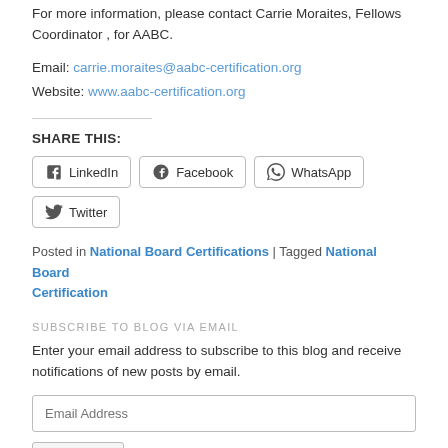For more information, please contact Carrie Moraites, Fellows Coordinator , for AABC.
Email: carrie.moraites@aabc-certification.org
Website: www.aabc-certification.org
SHARE THIS:
Posted in National Board Certifications | Tagged National Board Certification
SUBSCRIBE TO BLOG VIA EMAIL
Enter your email address to subscribe to this blog and receive notifications of new posts by email.